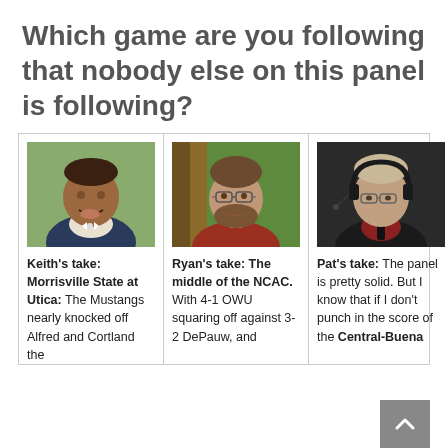Which game are you following that nobody else on this panel is following?
[Figure (photo): Headshot of Keith, a smiling Black man in a suit with boutonniere]
Keith's take: Morrisville State at Utica: The Mustangs nearly knocked off Alfred and Cortland the
[Figure (photo): Headshot of Ryan, a bearded man with glasses in a red shirt outdoors]
Ryan's take: The middle of the NCAC. With 4-1 OWU squaring off against 3-2 DePauw, and
[Figure (photo): Headshot of Pat, a man wearing headphones/headset at an event]
Pat's take: The panel is pretty solid. But I know that if I don't punch in the score of the Central-Buena